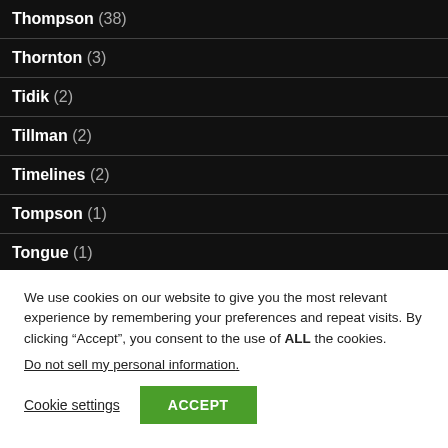Thompson (38)
Thornton (3)
Tidik (2)
Tillman (2)
Timelines (2)
Tompson (1)
Tongue (1)
Torrey (4)
We use cookies on our website to give you the most relevant experience by remembering your preferences and repeat visits. By clicking “Accept”, you consent to the use of ALL the cookies.
Do not sell my personal information.
Cookie settings  ACCEPT